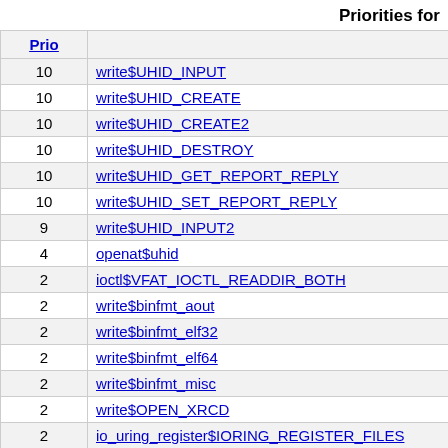Priorities for
| Prio |  |
| --- | --- |
| 10 | write$UHID_INPUT |
| 10 | write$UHID_CREATE |
| 10 | write$UHID_CREATE2 |
| 10 | write$UHID_DESTROY |
| 10 | write$UHID_GET_REPORT_REPLY |
| 10 | write$UHID_SET_REPORT_REPLY |
| 9 | write$UHID_INPUT2 |
| 4 | openat$uhid |
| 2 | ioctl$VFAT_IOCTL_READDIR_BOTH |
| 2 | write$binfmt_aout |
| 2 | write$binfmt_elf32 |
| 2 | write$binfmt_elf64 |
| 2 | write$binfmt_misc |
| 2 | write$OPEN_XRCD |
| 2 | io_uring_register$IORING_REGISTER_FILES |
| 2 | io_uring_register$IORING_REGISTER_FILES_UPDATE |
| 2 | write |
| 2 | vmsplice |